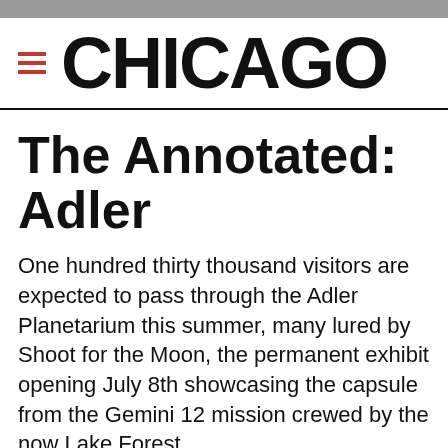CHICAGO
The Annotated: Adler
One hundred thirty thousand visitors are expected to pass through the Adler Planetarium this summer, many lured by Shoot for the Moon, the permanent exhibit opening July 8th showcasing the capsule from the Gemini 12 mission crewed by the now Lake Forest